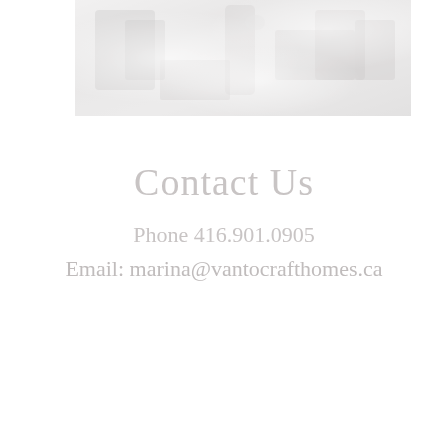[Figure (photo): A faded/washed-out photograph of what appears to be construction or woodworking tools and materials on a work surface, shown in very light gray tones.]
Contact Us
Phone 416.901.0905
Email: marina@vantocrafthomes.ca